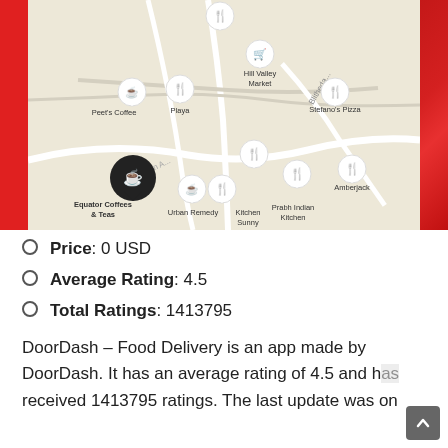[Figure (screenshot): DoorDash app map screenshot showing nearby restaurants and coffee shops including Peet's Coffee, Playa, Hill Valley Market, Stefano's Pizza, Equator Coffees & Teas, Kitchen Sunny, Prabh Indian Kitchen, Amberjack, Urban Remedy on a street map with red side borders]
Price: 0 USD
Average Rating: 4.5
Total Ratings: 1413795
DoorDash – Food Delivery is an app made by DoorDash. It has an average rating of 4.5 and has received 1413795 ratings. The last update was on